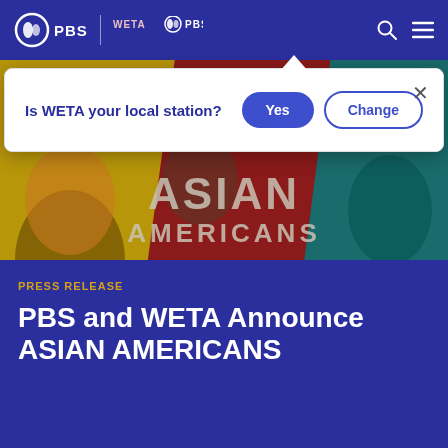[Figure (screenshot): PBS and WETA PBS navigation bar with logos, search icon, and menu icon on dark navy blue background]
[Figure (infographic): Modal popup dialog asking 'Is WETA your local station?' with Yes and Change buttons and an X close button]
[Figure (photo): Hero banner image for 'Asian Americans' PBS documentary featuring multiple faces with yellow, red, and teal color overlay sections with text ASIAN AMERICANS]
PRESS RELEASE
PBS and WETA Announce ASIAN AMERICANS